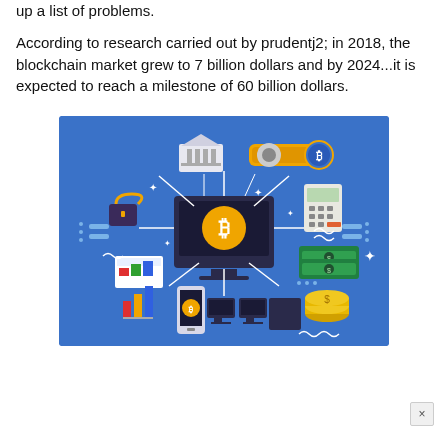up a list of problems.

According to research carried out by prudentj2; in 2018, the blockchain market grew to 7 billion dollars and by 2024...it is expected to reach a milestone of 60 billion dollars.
[Figure (illustration): Blockchain technology concept illustration on a blue background featuring a central computer monitor with Bitcoin symbol, surrounded by connected icons including a padlock, bank building, gear/settings icon, calculator, phone with Bitcoin, bar chart, money/cash, coins, network computers, and a chart dashboard, all connected by white lines suggesting a blockchain network.]